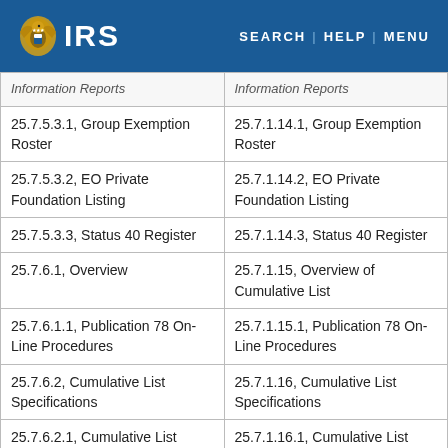IRS | SEARCH | HELP | MENU
| Old Section | New Section |
| --- | --- |
| Information Reports | Information Reports |
| 25.7.5.3.1, Group Exemption Roster | 25.7.1.14.1, Group Exemption Roster |
| 25.7.5.3.2, EO Private Foundation Listing | 25.7.1.14.2, EO Private Foundation Listing |
| 25.7.5.3.3, Status 40 Register | 25.7.1.14.3, Status 40 Register |
| 25.7.6.1, Overview | 25.7.1.15, Overview of Cumulative List |
| 25.7.6.1.1, Publication 78 On-Line Procedures | 25.7.1.15.1, Publication 78 On-Line Procedures |
| 25.7.6.2, Cumulative List Specifications | 25.7.1.16, Cumulative List Specifications |
| 25.7.6.2.1, Cumulative List Coding Specifications | 25.7.1.16.1, Cumulative List Coding Specifications |
| 25.7.6.3, Processing Cumulative List Inquiries | 25.7.1.17, Processing Cumulative List Inquiries |